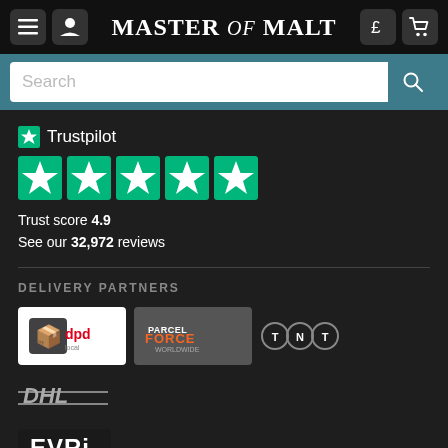MASTER of MALT
Search
[Figure (logo): Trustpilot logo with star icon and text 'Trustpilot']
[Figure (infographic): 5 green Trustpilot star rating boxes]
Trust score 4.9
See our 32,972 reviews
DELIVERY PARTNERS
[Figure (logo): Delivery partner logos: dpd local, Parcel Force Worldwide, TNT, DHL, EVRi The new Hermes]
WE ACCEPT